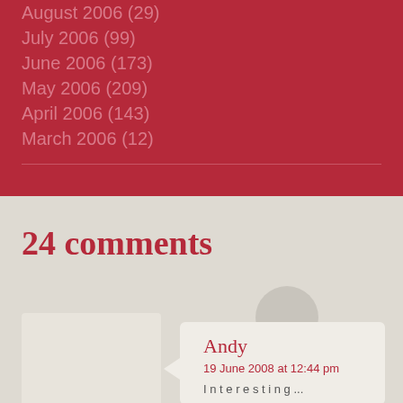August 2006 (29)
July 2006 (99)
June 2006 (173)
May 2006 (209)
April 2006 (143)
March 2006 (12)
24 comments
Andy
19 June 2008 at 12:44 pm